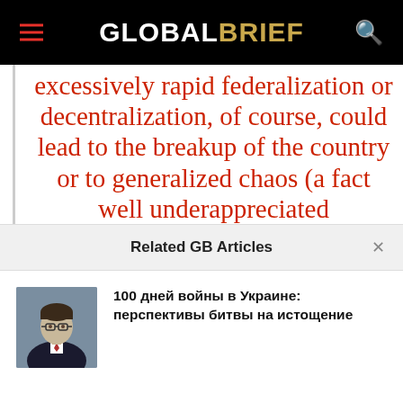GLOBALBRIEF
excessively rapid federalization or decentralization, of course, could lead to the breakup of the country or to generalized chaos (a fact well underappreciated
Related GB Articles
100 дней войны в Украине: перспективы битвы на истощение
[Figure (photo): Headshot photo of a young man with glasses wearing a dark suit and tie]